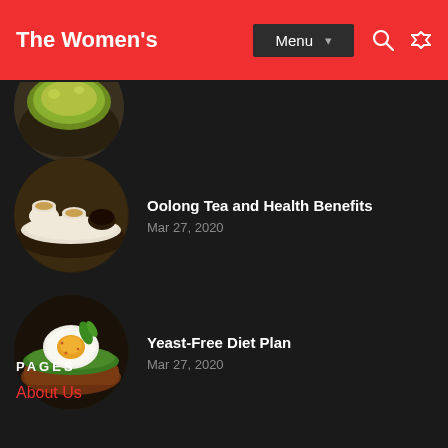The Women's
[Figure (photo): Partial circular thumbnail of a green tea drink, partially cut off at the top of the content area]
Oolong Tea and Health Benefits
Mar 27, 2020
[Figure (photo): Circular thumbnail of oolong tea in cups with loose tea leaves on a white tray]
Yeast-Free Diet Plan
Mar 27, 2020
[Figure (photo): Circular thumbnail of a boiled egg on avocado toast with herbs]
PAGES
About Us